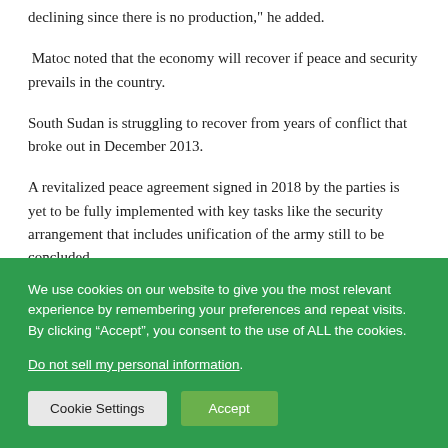declining since there is no production," he added.
Matoc noted that the economy will recover if peace and security prevails in the country.
South Sudan is struggling to recover from years of conflict that broke out in December 2013.
A revitalized peace agreement signed in 2018 by the parties is yet to be fully implemented with key tasks like the security arrangement that includes unification of the army still to be concluded.
We use cookies on our website to give you the most relevant experience by remembering your preferences and repeat visits. By clicking “Accept”, you consent to the use of ALL the cookies. Do not sell my personal information.